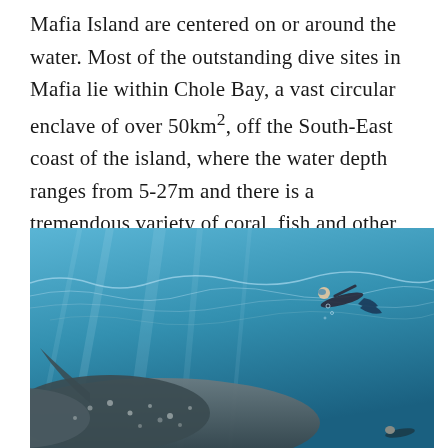Mafia Island are centered on or around the water. Most of the outstanding dive sites in Mafia lie within Chole Bay, a vast circular enclave of over 50km², off the South-East coast of the island, where the water depth ranges from 5-27m and there is a tremendous variety of coral, fish and other marine species.
[Figure (photo): Underwater photograph showing a whale shark swimming near the surface with a snorkeler/diver visible above it, shot from below looking upward through blue water with light patterns on the surface.]